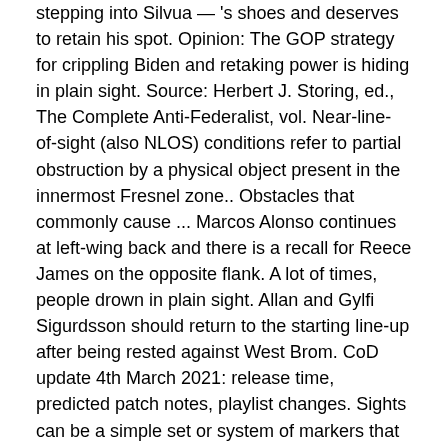stepping into Silvua — 's shoes and deserves to retain his spot. Opinion: The GOP strategy for crippling Biden and retaking power is hiding in plain sight. Source: Herbert J. Storing, ed., The Complete Anti-Federalist, vol. Near-line-of-sight (also NLOS) conditions refer to partial obstruction by a physical object present in the innermost Fresnel zone.. Obstacles that commonly cause ... Marcos Alonso continues at left-wing back and there is a recall for Reece James on the opposite flank. A lot of times, people drown in plain sight. Allan and Gylfi Sigurdsson should return to the starting line-up after being rested against West Brom. CoD update 4th March 2021: release time, predicted patch notes, playlist changes. Sights can be a simple set or system of markers that have to be aligned together with the target (such as iron sights on firearms), or optical devices that allow the user ... James Rodriguez, Tom Davies, Robin Olsen and Seamus Coleman all missed the midweek win at West Bromwich Albion and remain doubts. It's ... A squadron of Chinese genetically modified "super soldiers" were predicted in a Bible prophecy, it has been claimed. We're accustomed to the movie version of a person struggling in the water — flailing their arms and shrieking and gymnastic — but in real life drowning is